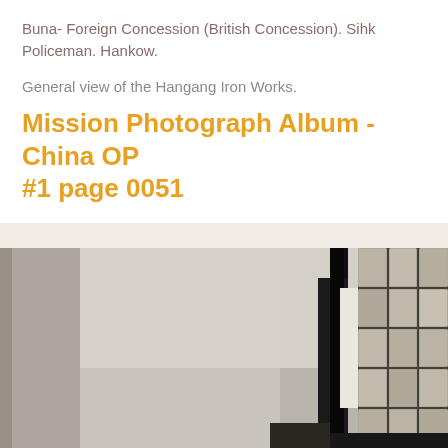Buna- Foreign Concession (British Concession). Sihk Policeman. Hankow.
General view of the Hangang Iron Works.
Mission Photograph Album - China OP #1 page 0051
[Figure (photo): Black and white photograph showing a building exterior with a large dark structural column/pillar in the center and a gridded window or lattice structure on the right side. The left portion shows a plain wall. This appears to be part of an industrial or institutional building.]